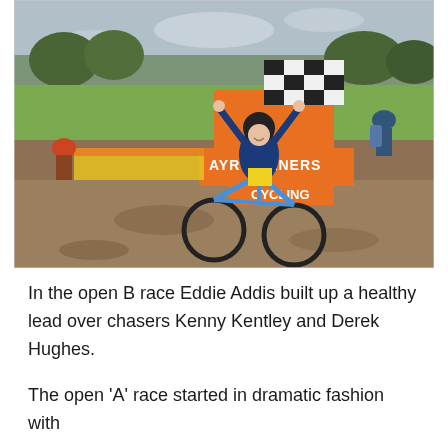[Figure (photo): A cyclist with arms raised in celebration crossing the finish line at a cyclocross race. The rider wears a blue kit and is on a blue bike. Behind them is a checkered finish banner and orange/white banners reading 'AYR BURNERS CYCLING'. The background shows a grassy park with trees.]
In the open B race Eddie Addis built up a healthy lead over chasers Kenny Kentley and Derek Hughes.
The open 'A' race started in dramatic fashion with